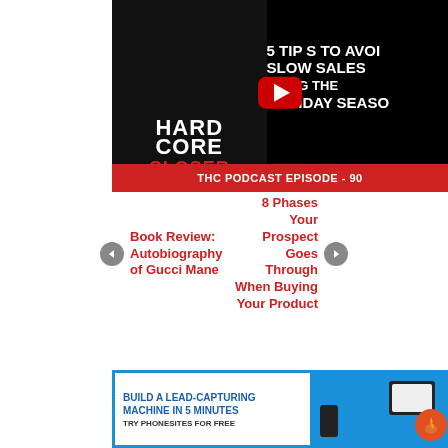[Figure (screenshot): YouTube-style thumbnail for Hardcore Closer Podcast with Ryan Stewman, Episode 90. Title text: '5 Tips to Avoid Slow Sales During the Holiday Season'. Red bar at bottom reads 'THC PODCAST EPISODE - 90'. Red YouTube play button in center.]
Book Review: Autobiography of Gucci Mane
8 Phases Your Prospect Goes Through When Buying Your Product
[Figure (screenshot): Advertisement banner for Phonesites. Blue background with white text section reading 'BUILD A LEAD-CAPTURING MACHINE IN 5 MINUTES' and 'TRY PHONESITES FOR FREE'. Right side shows phone and tablet device images with a fire/stopwatch graphic.]